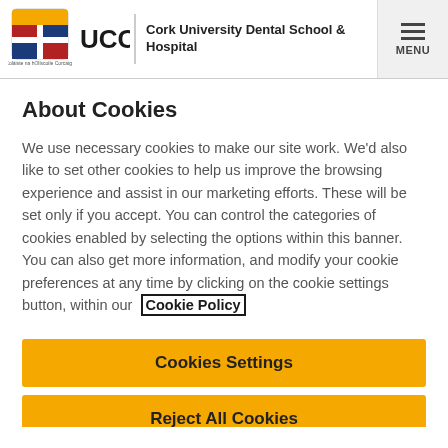UCC | Cork University Dental School & Hospital | MENU
About Cookies
We use necessary cookies to make our site work. We'd also like to set other cookies to help us improve the browsing experience and assist in our marketing efforts. These will be set only if you accept. You can control the categories of cookies enabled by selecting the options within this banner. You can also get more information, and modify your cookie preferences at any time by clicking on the cookie settings button, within our Cookie Policy
Cookies Settings
Reject All Cookies